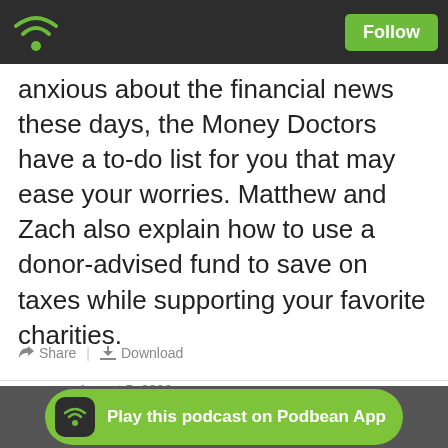Podbean app header with wifi icon and Follow button
anxious about the financial news these days, the Money Doctors have a to-do list for you that may ease your worries. Matthew and Zach also explain how to use a donor-advised fund to save on taxes while supporting your favorite charities.
Share | Download
August 5, 2022
Social Security &
Play this podcast on Podbean App